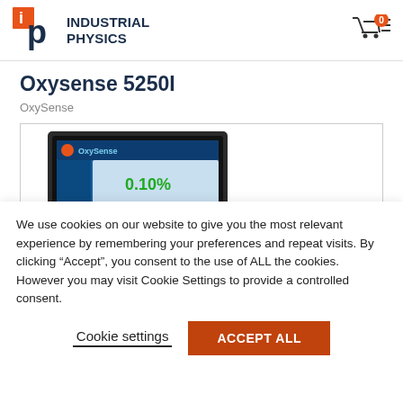Industrial Physics
Oxysense 5250I
OxySense
[Figure (photo): Laptop computer displaying OxySense software interface showing 0.10% oxygen reading in green text on a blue background screen]
We use cookies on our website to give you the most relevant experience by remembering your preferences and repeat visits. By clicking “Accept”, you consent to the use of ALL the cookies. However you may visit Cookie Settings to provide a controlled consent.
Cookie settings
ACCEPT ALL